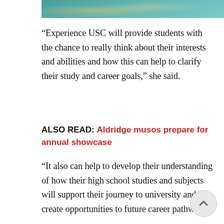[Figure (photo): Partial view of a photo at the top of the page showing a teal/turquoise background with what appears to be people or animals outdoors]
“Experience USC will provide students with the chance to really think about their interests and abilities and how this can help to clarify their study and career goals,” she said.
ALSO READ: Aldridge musos prepare for annual showcase
“It also can help to develop their understanding of how their high school studies and subjects will support their journey to university and create opportunities to future career pathways.
“We want them to explore their options, gain some insights into university life and then leave feeling inspired, informed and motivated about their future.”